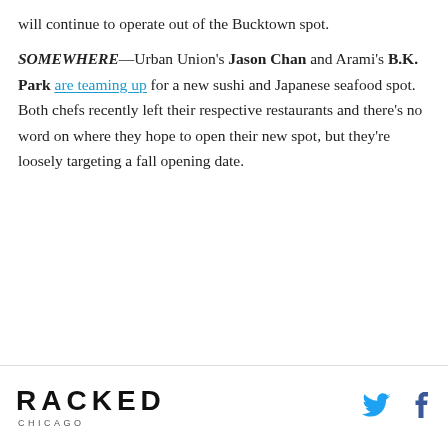will continue to operate out of the Bucktown spot.
SOMEWHERE—Urban Union's Jason Chan and Arami's B.K. Park are teaming up for a new sushi and Japanese seafood spot. Both chefs recently left their respective restaurants and there's no word on where they hope to open their new spot, but they're loosely targeting a fall opening date.
RACKED CHICAGO